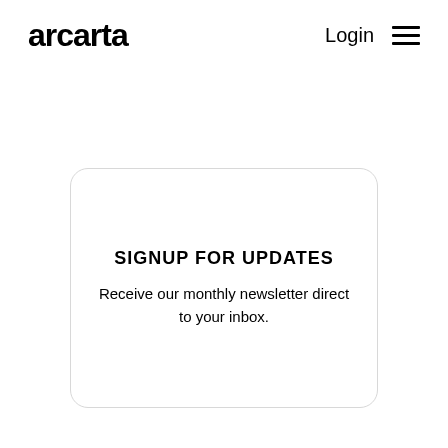arcarta   Login ≡
SIGNUP FOR UPDATES
Receive our monthly newsletter direct to your inbox.